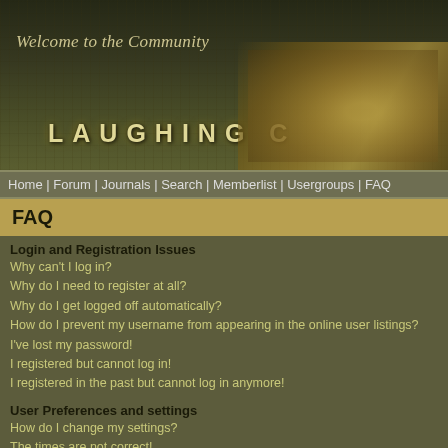[Figure (illustration): Website banner with dark olive/green wood-textured background. Italic text 'Welcome to the Community' on the left, large spaced bold letters 'LAUGHING C' across the bottom. Sepia-toned vintage photo of people sitting at a table on the right side.]
Home | Forum | Journals | Search | Memberlist | Usergroups | FAQ
FAQ
Login and Registration Issues
Why can't I log in?
Why do I need to register at all?
Why do I get logged off automatically?
How do I prevent my username from appearing in the online user listings?
I've lost my password!
I registered but cannot log in!
I registered in the past but cannot log in anymore!
User Preferences and settings
How do I change my settings?
The times are not correct!
I changed the timezone and the time is still wrong!
My language is not in the list!
How do I show an image below my username?
How do I change my rank?
When I click the email link for a user it asks me to log in.